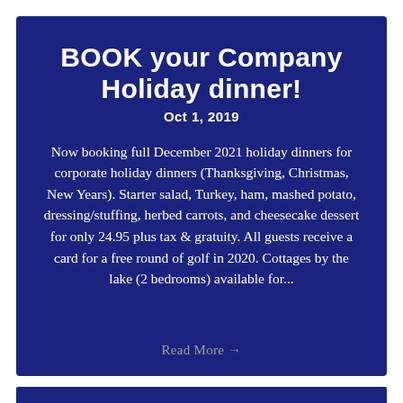BOOK your Company Holiday dinner!
Oct 1, 2019
Now booking full December 2021 holiday dinners for corporate holiday dinners (Thanksgiving, Christmas, New Years). Starter salad, Turkey, ham, mashed potato, dressing/stuffing, herbed carrots, and cheesecake dessert for only 24.95 plus tax & gratuity. All guests receive a card for a free round of golf in 2020. Cottages by the lake (2 bedrooms) available for...
Read More →